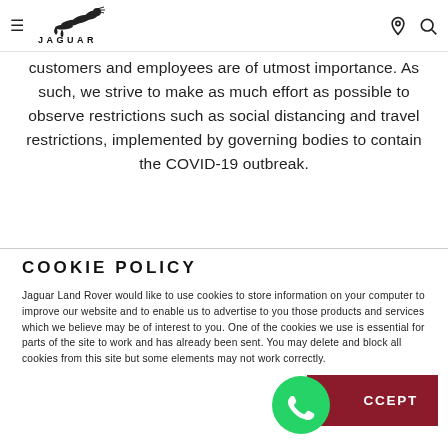Jaguar navigation header
customers and employees are of utmost importance. As such, we strive to make as much effort as possible to observe restrictions such as social distancing and travel restrictions, implemented by governing bodies to contain the COVID-19 outbreak.
COOKIE POLICY
Jaguar Land Rover would like to use cookies to store information on your computer to improve our website and to enable us to advertise to you those products and services which we believe may be of interest to you. One of the cookies we use is essential for parts of the site to work and has already been sent. You may delete and block all cookies from this site but some elements may not work correctly.